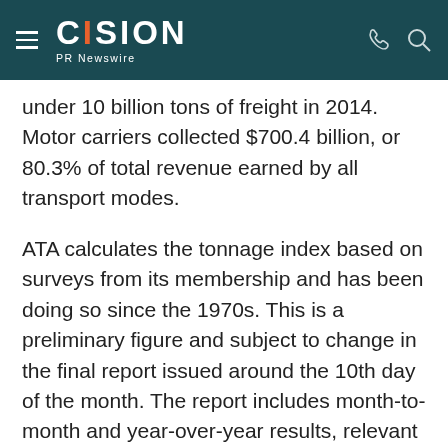CISION PR Newswire
under 10 billion tons of freight in 2014. Motor carriers collected $700.4 billion, or 80.3% of total revenue earned by all transport modes.
ATA calculates the tonnage index based on surveys from its membership and has been doing so since the 1970s. This is a preliminary figure and subject to change in the final report issued around the 10th day of the month. The report includes month-to-month and year-over-year results, relevant economic comparisons and key financial indicators.
The American Trucking Associations is the largest